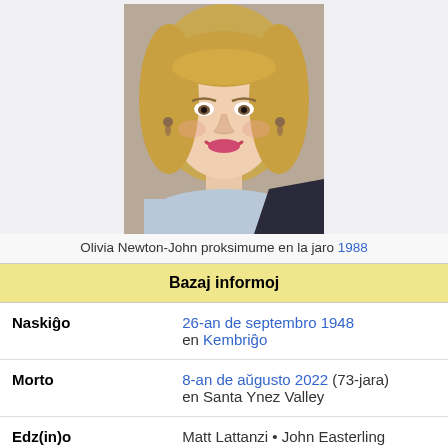[Figure (photo): Portrait photo of Olivia Newton-John circa 1988, a blonde woman smiling, wearing a light blue top]
Olivia Newton-John proksimume en la jaro 1988
Bazaj informoj
| Field | Value |
| --- | --- |
| Naskiĝo | 26-an de septembro 1948 en Kembriĝo |
| Morto | 8-an de aŭgusto 2022 (73-jara) en Santa Ynez Valley |
| Edz(in)o | Matt Lattanzi • John Easterling |